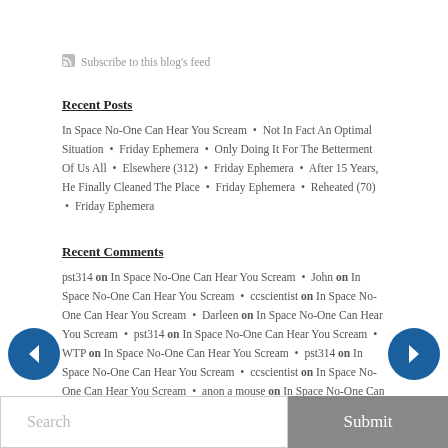Subscribe to this blog's feed
Recent Posts
In Space No-One Can Hear You Scream • Not In Fact An Optimal Situation • Friday Ephemera • Only Doing It For The Betterment Of Us All • Elsewhere (312) • Friday Ephemera • After 15 Years, He Finally Cleaned The Place • Friday Ephemera • Reheated (70) • Friday Ephemera
Recent Comments
pst314 on In Space No-One Can Hear You Scream • John on In Space No-One Can Hear You Scream • ccscientist on In Space No-One Can Hear You Scream • Darleen on In Space No-One Can Hear You Scream • pst314 on In Space No-One Can Hear You Scream • WTP on In Space No-One Can Hear You Scream • pst314 on In Space No-One Can Hear You Scream • ccscientist on In Space No-One Can Hear You Scream • anon a mouse on In Space No-One Can Hear You Scream • Farnsworth M Muldoon on In Space No-One Can Hear You Scream